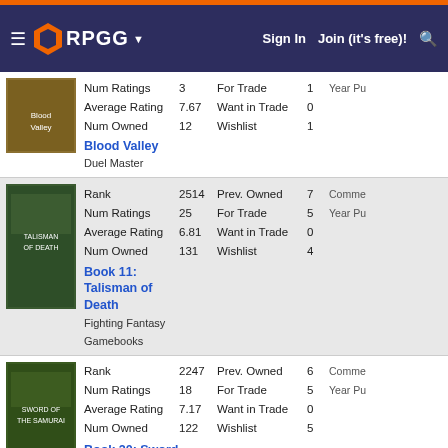RPGG | Sign In | Join (it's free)!
| Game | Stat | Value | Stat2 | Value2 | Extra |
| --- | --- | --- | --- | --- | --- |
| Blood Valley / Duel Master | Num Ratings | 3 | For Trade | 1 | Year Pu... |
| Blood Valley / Duel Master | Average Rating | 7.67 | Want in Trade | 0 |  |
| Blood Valley / Duel Master | Num Owned | 12 | Wishlist | 1 |  |
| Book 11: Talisman of Death / Fighting Fantasy Gamebooks | Rank | 2514 | Prev. Owned | 7 | Comme... |
| Book 11: Talisman of Death / Fighting Fantasy Gamebooks | Num Ratings | 25 | For Trade | 5 | Year Pu... |
| Book 11: Talisman of Death / Fighting Fantasy Gamebooks | Average Rating | 6.81 | Want in Trade | 0 |  |
| Book 11: Talisman of Death / Fighting Fantasy Gamebooks | Num Owned | 131 | Wishlist | 4 |  |
| Book 20: Sword of the Samurai / Fighting Fantasy | Rank | 2247 | Prev. Owned | 6 | Comme... |
| Book 20: Sword of the Samurai / Fighting Fantasy | Num Ratings | 18 | For Trade | 5 | Year Pu... |
| Book 20: Sword of the Samurai / Fighting Fantasy | Average Rating | 7.17 | Want in Trade | 0 |  |
| Book 20: Sword of the Samurai / Fighting Fantasy | Num Owned | 122 | Wishlist | 5 |  |